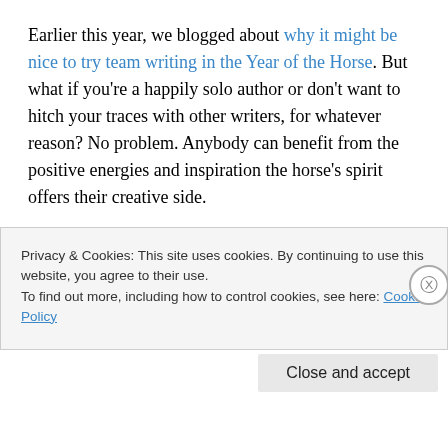Earlier this year, we blogged about why it might be nice to try team writing in the Year of the Horse. But what if you're a happily solo author or don't want to hitch your traces with other writers, for whatever reason? No problem. Anybody can benefit from the positive energies and inspiration the horse's spirit offers their creative side.
Here are some ways you can let the natural energy and spirit of the horse guide your writing:
The wild horse shows you how to run free — it doesn't
Privacy & Cookies: This site uses cookies. By continuing to use this website, you agree to their use. To find out more, including how to control cookies, see here: Cookie Policy
Close and accept